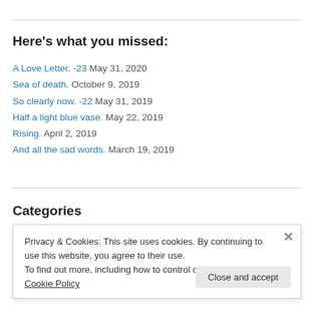Here's what you missed:
A Love Letter. -23 May 31, 2020
Sea of death. October 9, 2019
So clearly now. -22 May 31, 2019
Half a light blue vase. May 22, 2019
Rising. April 2, 2019
And all the sad words. March 19, 2019
Categories
Privacy & Cookies: This site uses cookies. By continuing to use this website, you agree to their use.
To find out more, including how to control cookies, see here: Cookie Policy
Close and accept